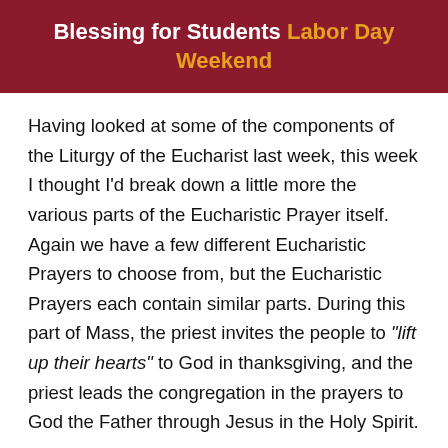Blessing for Students Labor Day Weekend
Having looked at some of the components of the Liturgy of the Eucharist last week, this week I thought I'd break down a little more the various parts of the Eucharistic Prayer itself. Again we have a few different Eucharistic Prayers to choose from, but the Eucharistic Prayers each contain similar parts. During this part of Mass, the priest invites the people to “lift up their hearts” to God in thanksgiving, and the priest leads the congregation in the prayers to God the Father through Jesus in the Holy Spirit.